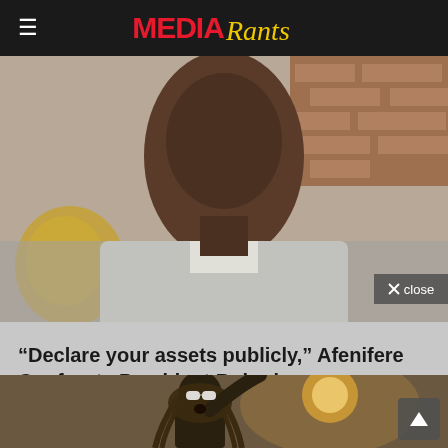MEDIA Rants
[Figure (photo): Close-up photo of an older man (President Buhari) in white attire, with a golden decorative chair visible in the background. The image is partially obscured with a gray overlay at the bottom.]
“Declare your assets publicly,” Afenifere Confronts President Buhari
[Figure (photo): Photo of a performer with dreadlocks, wearing white sunglasses, raising one arm, performing on stage with a bright light/sun in the background.]